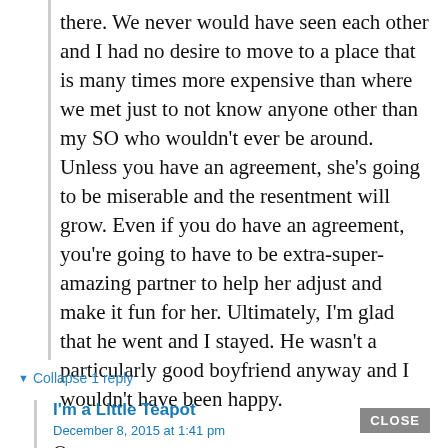there. We never would have seen each other and I had no desire to move to a place that is many times more expensive than where we met just to not know anyone other than my SO who wouldn't ever be around. Unless you have an agreement, she's going to be miserable and the resentment will grow. Even if you do have an agreement, you're going to have to be extra-super-amazing partner to help her adjust and make it fun for her. Ultimately, I'm glad that he went and I stayed. He wasn't a particularly good boyfriend anyway and I wouldn't have been happy.
▼ Collapse 1 reply
I'm a Little Teapot
December 8, 2015 at 1:41 pm
O.o